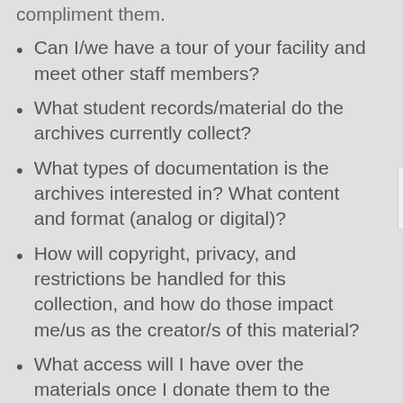compliment them.
Can I/we have a tour of your facility and meet other staff members?
What student records/material do the archives currently collect?
What types of documentation is the archives interested in? What content and format (analog or digital)?
How will copyright, privacy, and restrictions be handled for this collection, and how do those impact me/us as the creator/s of this material?
What access will I have over the materials once I donate them to the archives?
What are your methods of preservation?